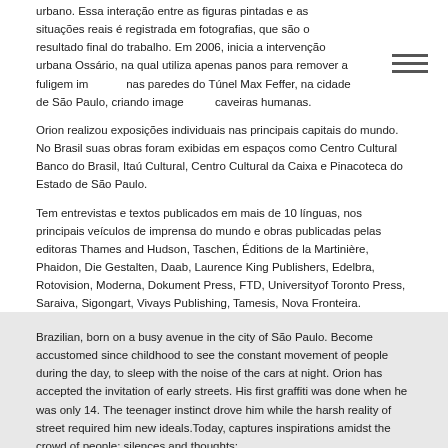urbano. Essa interação entre as figuras pintadas e as situações reais é registrada em fotografias, que são o resultado final do trabalho. Em 2006, inicia a intervenção urbana Ossário, na qual utiliza apenas panos para remover a fuligem impressa nas paredes do Túnel Max Feffer, na cidade de São Paulo, criando imagens de caveiras humanas.
Orion realizou exposições individuais nas principais capitais do mundo. No Brasil suas obras foram exibidas em espaços como Centro Cultural Banco do Brasil, Itaú Cultural, Centro Cultural da Caixa e Pinacoteca do Estado de São Paulo.
Tem entrevistas e textos publicados em mais de 10 línguas, nos principais veículos de imprensa do mundo e obras publicadas pelas editoras Thames and Hudson, Taschen, Éditions de la Martinière, Phaidon, Die Gestalten, Daab, Laurence King Publishers, Edelbra, Rotovision, Moderna, Dokument Press, FTD, Universityof Toronto Press, Saraiva, Sigongart, Vivays Publishing, Tamesis, Nova Fronteira.
Realizou exposições e possui obras nos acervos da Foundation Cartier pour l'art contemporain, em Paris, Pinacoteca do Estado de São Paulo, do Centrum Beeldende Kunst de Rotterdam, Itaú Cultural, Deustche Bank e Mad Museum, ambos em Nova York, Milwaukee Museum, Fundação Padre Anchieta, Nelson-Atkins Museum of Art, Spencer Museum of Art, Schrin Kunsthalle entre muitos outros.
Brazilian, born on a busy avenue in the city of São Paulo. Become accustomed since childhood to see the constant movement of people during the day, to sleep with the noise of the cars at night. Orion has accepted the invitation of early streets. His first graffiti was done when he was only 14. The teenager instinct drove him while the harsh reality of street required him new ideals.Today, captures inspirations amidst the crowd of people; silences and thoughts;